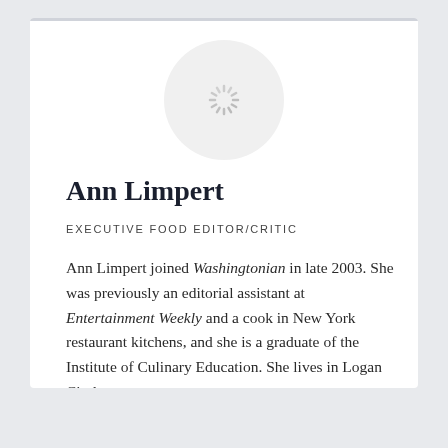[Figure (illustration): Circular avatar placeholder with a loading spinner icon in the center, on a light gray circular background]
Ann Limpert
EXECUTIVE FOOD EDITOR/CRITIC
Ann Limpert joined Washingtonian in late 2003. She was previously an editorial assistant at Entertainment Weekly and a cook in New York restaurant kitchens, and she is a graduate of the Institute of Culinary Education. She lives in Logan Circle.